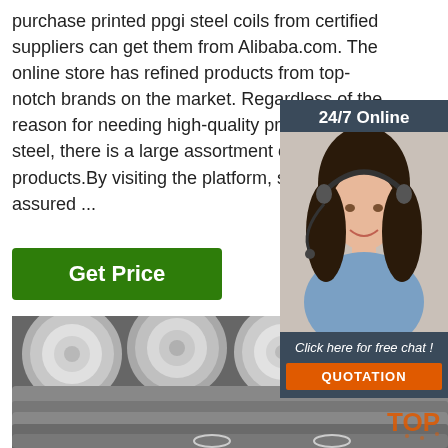purchase printed ppgi steel coils from certified suppliers can get them from Alibaba.com. The online store has refined products from top-notch brands on the market. Regardless of the reason for needing high-quality printed ppgi steel, there is a large assortment of the online products.By visiting the platform, shoppers are assured ...
[Figure (other): Get Price green button]
[Figure (photo): 24/7 Online chat widget with woman wearing headset, Click here for free chat!, QUOTATION button]
[Figure (photo): Steel round bars/rods stacked, viewed from end showing circular cross sections, with TOP watermark logo in bottom right]